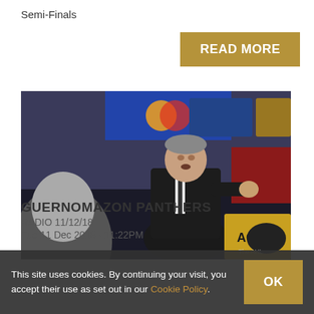Semi-Finals
READ MORE
[Figure (photo): A hockey coach in a dark suit gesturing with his hand, speaking to players on the bench. A player in a yellow jersey with 'ACS' visible is in the foreground. Arena crowd and signage visible in background.]
GUERNOMAZON PANTHERS
RADIO 11/12/18
Tue 11 Dec 2018 · 11:22PM
This site uses cookies. By continuing your visit, you accept their use as set out in our Cookie Policy.
OK